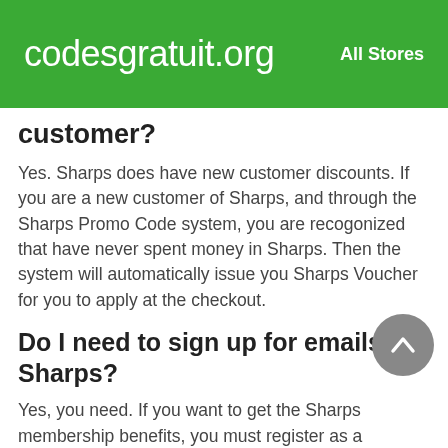codesgratuit.org    All Stores
customer?
Yes. Sharps does have new customer discounts. If you are a new customer of Sharps, and through the Sharps Promo Code system, you are recogonized that have never spent money in Sharps. Then the system will automatically issue you Sharps Voucher for you to apply at the checkout.
Do I need to sign up for emails at Sharps?
Yes, you need. If you want to get the Sharps membership benefits, you must register as a member of Sharps with your email address...